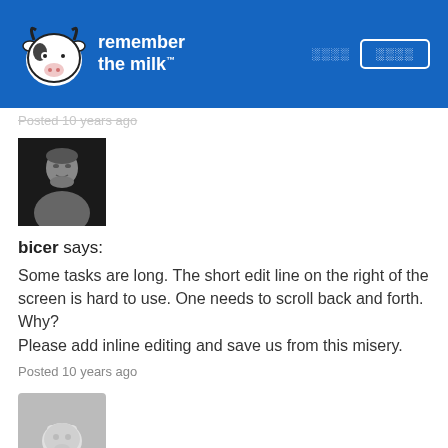[Figure (logo): Remember The Milk website header with cow logo and navigation buttons]
Posted 10 years ago
[Figure (photo): Black and white profile photo of a man]
bicer says:
Some tasks are long. The short edit line on the right of the screen is hard to use. One needs to scroll back and forth. Why?
Please add inline editing and save us from this misery.
Posted 10 years ago
[Figure (illustration): Default grey avatar with cow/milk icon]